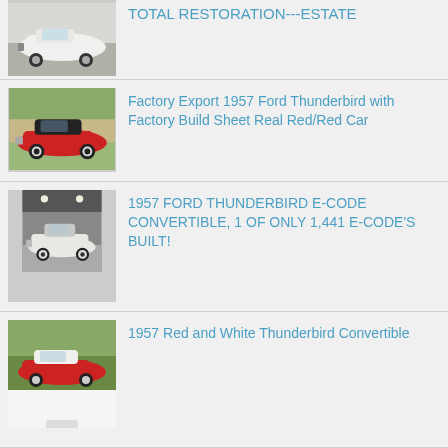TOTAL RESTORATION---ESTATE
[Figure (photo): White classic Ford Thunderbird convertible, side/front view in parking lot]
Factory Export 1957 Ford Thunderbird with Factory Build Sheet Real Red/Red Car
[Figure (photo): Red 1957 Ford Thunderbird with black soft top, parked outdoors]
1957 FORD THUNDERBIRD E-CODE CONVERTIBLE, 1 OF ONLY 1,441 E-CODE'S BUILT!
[Figure (photo): White 1957 Ford Thunderbird convertible in an indoor showroom/garage]
1957 Red and White Thunderbird Convertible
[Figure (photo): Red and white 1957 Ford Thunderbird convertible, partially visible]